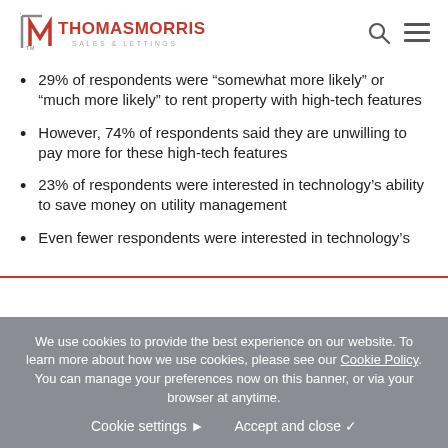Thomas Morris Sales & Lettings
29% of respondents were “somewhat more likely” or “much more likely” to rent property with high-tech features
However, 74% of respondents said they are unwilling to pay more for these high-tech features
23% of respondents were interested in technology’s ability to save money on utility management
Even fewer respondents were interested in technology’s
We use cookies to provide the best experience on our website. To learn more about how we use cookies, please see our Cookie Policy. You can manage your preferences now on this banner, or via your browser at anytime.
Cookie settings   Accept and close